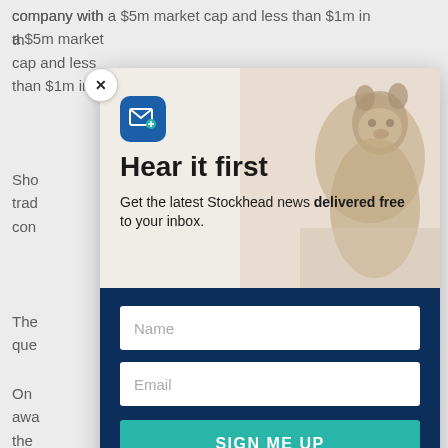company with a $5m market cap and less than $1m in th...
Sho trad con
The que
One 75% ore tha
On awa the trad
[Figure (screenshot): Email newsletter signup modal overlay on a financial news article. Top section shows a groundhog/marmot photo background with a blue email icon and text 'Hear it first - Get the latest Stockhead news delivered free to your inbox.' Bottom dark navy section contains Name input field, Email input field, and a teal SIGN ME UP button.]
Hear it first
Get the latest Stockhead news delivered free to your inbox.
Name
Email
SIGN ME UP